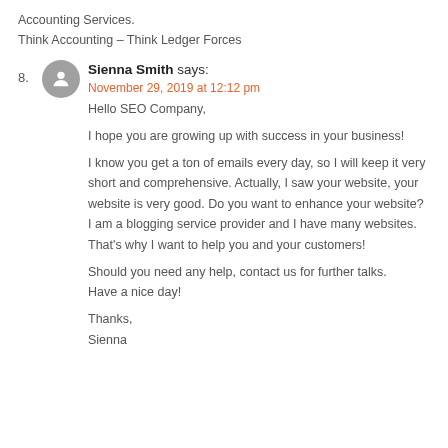Accounting Services.
Think Accounting – Think Ledger Forces
8. Sienna Smith says:
November 29, 2019 at 12:12 pm
Hello SEO Company,

I hope you are growing up with success in your business!

I know you get a ton of emails every day, so I will keep it very short and comprehensive. Actually, I saw your website, your website is very good. Do you want to enhance your website? I am a blogging service provider and I have many websites. That's why I want to help you and your customers!

Should you need any help, contact us for further talks.
Have a nice day!

Thanks,
Sienna